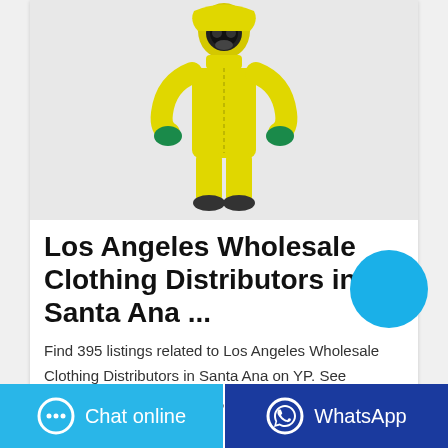[Figure (illustration): Person wearing a full yellow hazmat suit with green gloves and a gas mask, standing upright on a white/light gray background.]
Los Angeles Wholesale Clothing Distributors in Santa Ana ...
Find 395 listings related to Los Angeles Wholesale Clothing Distributors in Santa Ana on YP. See reviews, photos, directions, phone numbers and more for Los